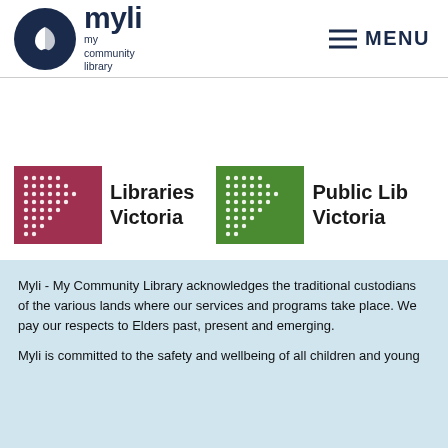[Figure (logo): Myli My Community Library logo with circular emblem and text, plus MENU hamburger button]
[Figure (logo): Libraries Victoria logo (red square with dot pattern arrow) and partially visible Public Libraries Victoria logo (green square with dot pattern arrow)]
Myli - My Community Library acknowledges the traditional custodians of the various lands where our services and programs take place. We pay our respects to Elders past, present and emerging.
Myli is committed to the safety and wellbeing of all children and young